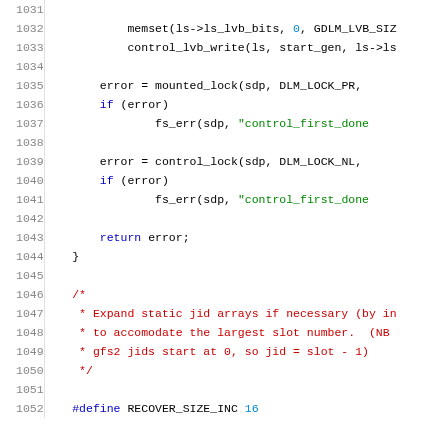Source code listing lines 1031-1052, C language kernel code involving memset, control_lvb_write, mounted_lock, control_lock, fs_err, return error, closing brace, comment block about expanding static jid arrays, and #define RECOVER_SIZE_INC 16